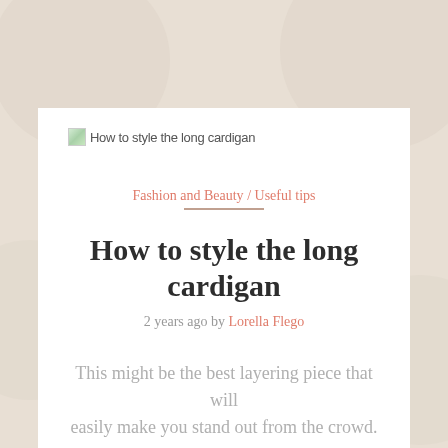[Figure (illustration): Broken image thumbnail with alt text 'How to style the long cardigan']
Fashion and Beauty / Useful tips
How to style the long cardigan
2 years ago by Lorella Flego
This might be the best layering piece that will easily make you stand out from the crowd.
Read more →
[Figure (illustration): Broken image thumbnail with alt text 'Style to the day: the long cardigan']
Fashion and Beauty / Style of the day